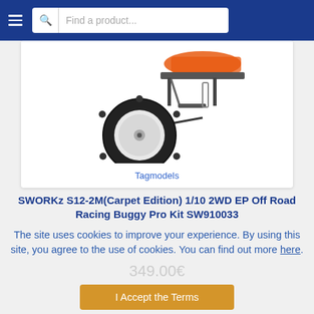[Figure (screenshot): Navigation bar with hamburger menu icon and search box with placeholder 'Find a product...']
[Figure (photo): RC buggy car wheel and chassis detail photo on white background, with 'Tagmodels' link below]
SWORKz S12-2M(Carpet Edition) 1/10 2WD EP Off Road Racing Buggy Pro Kit SW910033
The site uses cookies to improve your experience. By using this site, you agree to the use of cookies. You can find out more here.
349.00€
I Accept the Terms
Privacy Policy